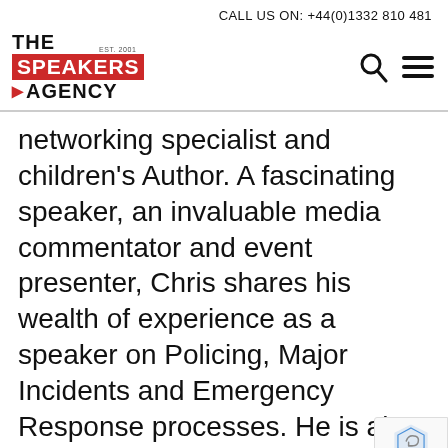CALL US ON: +44(0)1332 810 481
[Figure (logo): The Speakers Agency logo with EST. 2001, red background on SPEAKERS text, red chevron before AGENCY, with search and hamburger menu icons]
networking specialist and children's Author. A fascinating speaker, an invaluable media commentator and event presenter, Chris shares his wealth of experience as a speaker on Policing, Major Incidents and Emergency Response processes. He is also an impressive event host with clients such as Aston Martin and Rolls Royce.